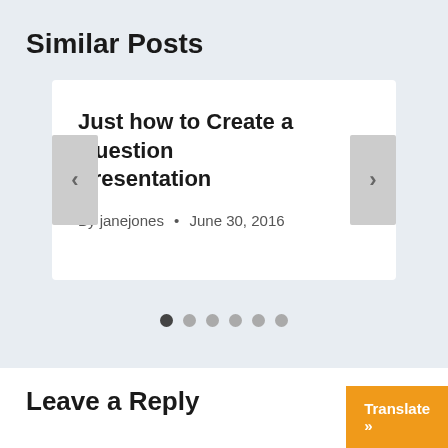Similar Posts
Just how to Create a Question Presentation
By janejones • June 30, 2016
Leave a Reply
Translate »